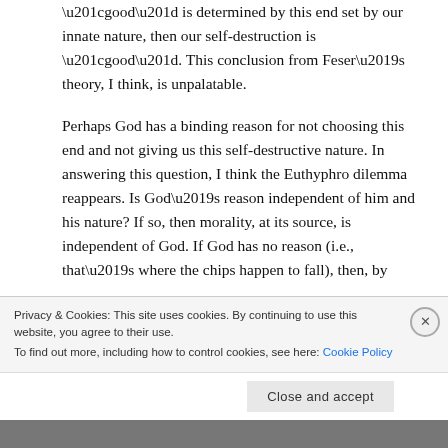“good” is determined by this end set by our innate nature, then our self-destruction is “good”. This conclusion from Feser’s theory, I think, is unpalatable.
Perhaps God has a binding reason for not choosing this end and not giving us this self-destructive nature. In answering this question, I think the Euthyphro dilemma reappears. Is God’s reason independent of him and his nature? If so, then morality, at its source, is independent of God. If God has no reason (i.e., that’s where the chips happen to fall), then, by
Privacy & Cookies: This site uses cookies. By continuing to use this website, you agree to their use.
To find out more, including how to control cookies, see here: Cookie Policy
Close and accept